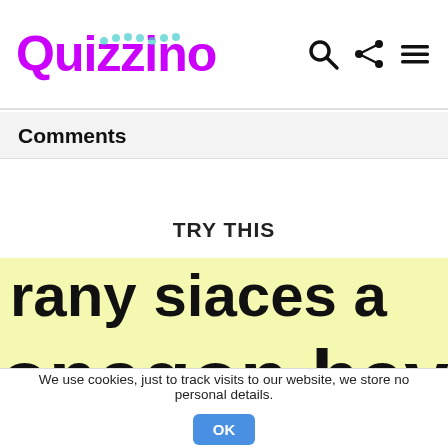Quizzino
Comments
TRY THIS
[Figure (screenshot): Cropped quiz question image on yellow-green background showing partial text: 'rany siaces a' on top line and 'onagon have?' on bottom line, in large bold black font.]
We use cookies, just to track visits to our website, we store no personal details.